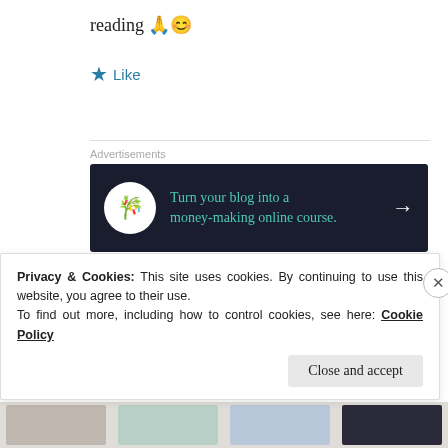reading 🙏😊
★ Like
[Figure (infographic): Advertisement banner with dark background: bonsai tree icon in white circle, teal text 'Turn your blog into a money-making online course.' and white right arrow]
REPORT THIS AD
BHARATH UPENDRA
17 Apr 2019 at 11:57 am
Privacy & Cookies: This site uses cookies. By continuing to use this website, you agree to their use.
To find out more, including how to control cookies, see here: Cookie Policy
Close and accept